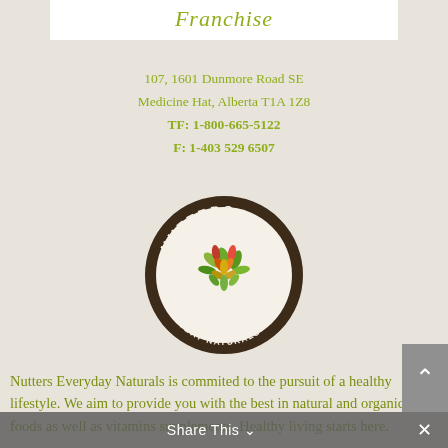Franchise
107, 1601 Dunmore Road SE
Medicine Hat, Alberta T1A 1Z8
TF: 1-800-665-5122
F: 1-403 529 6507
[Figure (logo): Nutters Everyday Naturals circular logo with colorful leaf design, EST 1982]
Nutters Everyday Naturals is commited to the pursuit of a healthy lifestyle. We aim to provide you with the best in natural and organic foods as well as vitamins supplements. Healthy living starts here.